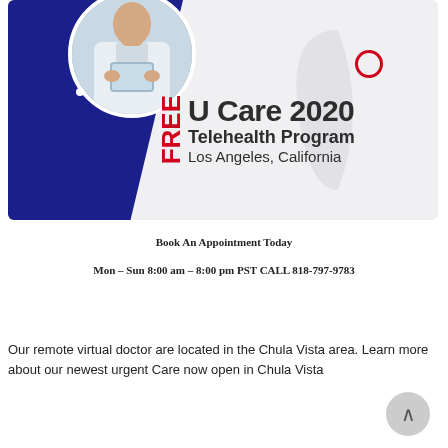[Figure (illustration): Promotional banner for FREE U Care 2020 Telehealth Program in Los Angeles, California. Features a dark blue left panel with a circular photo of a doctor in a light blue coat holding a tablet, decorative elements including a white dot and red circle outline, a curved shape on the right side, and bold text showing FREE (rotated vertically in red) U Care 2020 / Telehealth Program / Los Angeles, California on a light gray background.]
Book An Appointment Today
Mon – Sun 8:00 am – 8:00 pm PST CALL 818-797-9783
Our remote virtual doctor are located in the Chula Vista area. Learn more about our newest urgent Care now open in Chula Vista